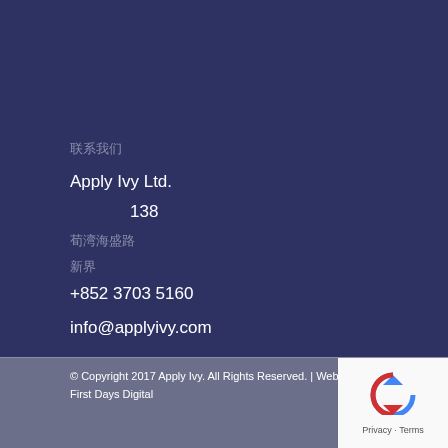联系我们
Apply Ivy Ltd.
138
荃湾海盛路
新界
+852 3703 5160
info@applyivy.com
© Copyright 2017 Apply Ivy. All Rights Reserved. | Website customised by First Days Digital